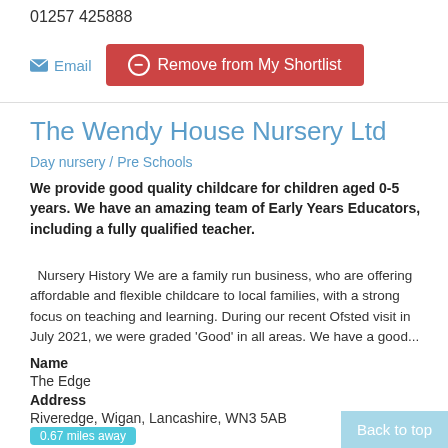01257 425888
Email   Remove from My Shortlist
The Wendy House Nursery Ltd
Day nursery / Pre Schools
We provide good quality childcare for children aged 0-5 years. We have an amazing team of Early Years Educators, including a fully qualified teacher.
Nursery History We are a family run business, who are offering affordable and flexible childcare to local families, with a strong focus on teaching and learning. During our recent Ofsted visit in July 2021, we were graded 'Good' in all areas. We have a good...
Name
The Edge
Address
Riveredge, Wigan, Lancashire, WN3 5AB
0.67 miles away
Telephone
Back to top